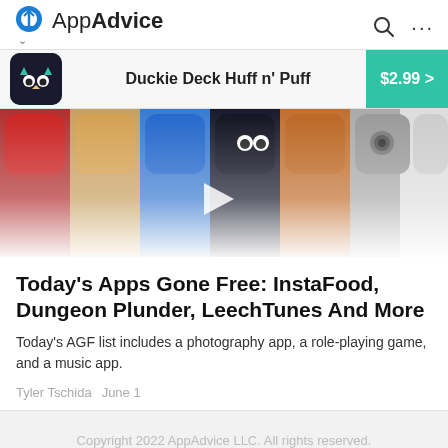AppAdvice
Duckie Deck Huff n' Puff  $2.99 >
[Figure (screenshot): A horizontal strip showing multiple app icons including a colorful owl/monster game icon, a blue icon, a Duckie Deck icon, and other app icons, with a play button overlay and a fade-out at the bottom.]
Today's Apps Gone Free: InstaFood, Dungeon Plunder, LeechTunes And More
Today's AGF list includes a photography app, a role-playing game, and a music app.
Tyler Tschida  June 1
Copyright 2022 AppAdvice LLC. All rights reserved.